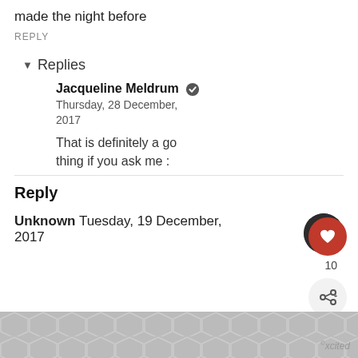made the night before
REPLY
▾ Replies
Jacqueline Meldrum ✔ Thursday, 28 December, 2017
That is definitely a good thing if you ask me :
Reply
Unknown Tuesday, 19 Dec… 2017